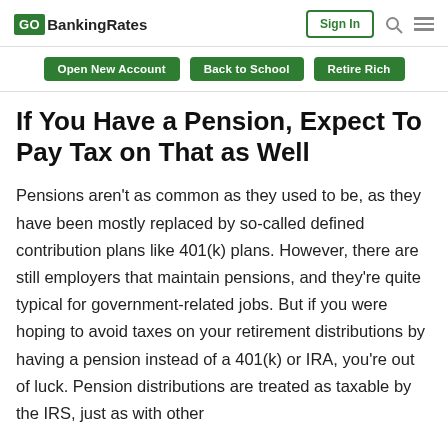GO BankingRates | Sign In
Open New Account | Back to School | Retire Rich
If You Have a Pension, Expect To Pay Tax on That as Well
Pensions aren't as common as they used to be, as they have been mostly replaced by so-called defined contribution plans like 401(k) plans. However, there are still employers that maintain pensions, and they're quite typical for government-related jobs. But if you were hoping to avoid taxes on your retirement distributions by having a pension instead of a 401(k) or IRA, you're out of luck. Pension distributions are treated as taxable by the IRS, just as with other